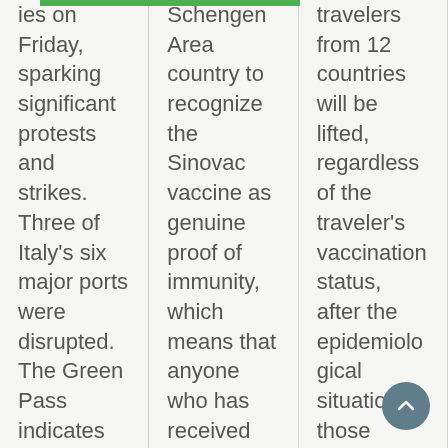ies on Friday, sparking significant protests and strikes. Three of Italy's six major ports were disrupted. The Green Pass indicates that a
Schengen Area country to recognize the Sinovac vaccine as genuine proof of immunity, which means that anyone who has received the
travelers from 12 countries will be lifted, regardless of the traveler's vaccination status, after the epidemiological situation in those